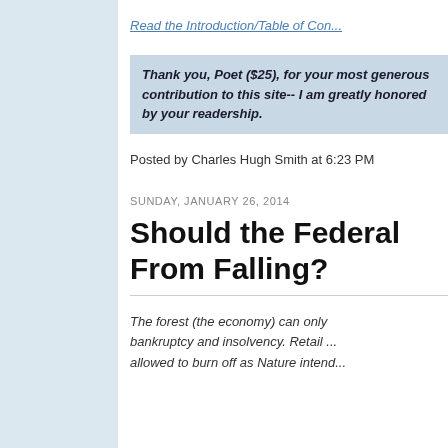Read the Introduction/Table of Con...
Thank you, Poet ($25), for your most generous contribution to this site-- I am greatly honored by your readership.
Posted by Charles Hugh Smith at 6:23 PM
SUNDAY, JANUARY 26, 2014
Should the Federal... From Falling?
The forest (the economy) can only... bankruptcy and insolvency. Retail ... allowed to burn off as Nature intend...